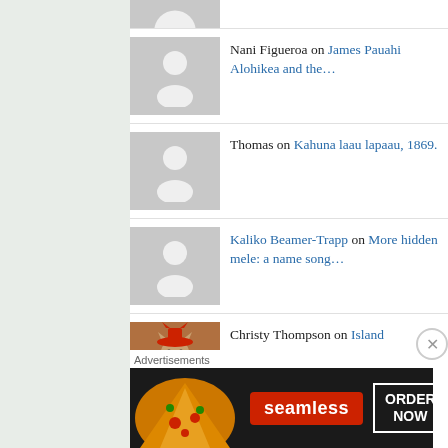Nani Figueroa on James Pauahi Alohikea and the...
Thomas on Kahuna laau lapaau, 1869.
Kaliko Beamer-Trapp on More hidden mele: a name song...
Christy Thompson on Island Princesses, 1908.
cbacchid2ba761e26 on Where are you, Dash?! 1871.
Melody Cosma-Gonsalv... on Nice picture of Maui's K...
cbacchid2ba761e26 on Keaomelemele. 2021!
[Figure (infographic): Seamless food ordering advertisement banner with pizza image, Seamless logo, and ORDER NOW button]